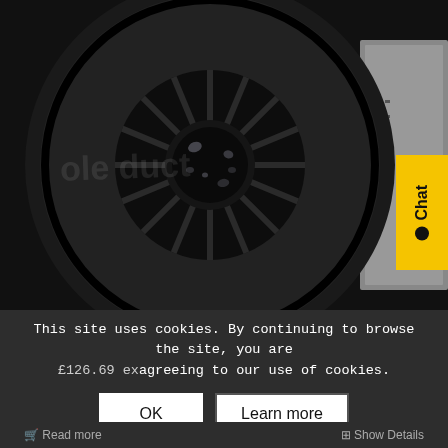[Figure (photo): Close-up photograph of a black centrifugal blower fan unit with visible impeller blades, partially showing a grey metal housing on the right side. A watermark text 'ole duct' is overlaid on the image.]
This site uses cookies. By continuing to browse the site, you are agreeing to our use of cookies.
£126.69 ex
OK
Learn more
🛒 Read more
⊞ Show Details